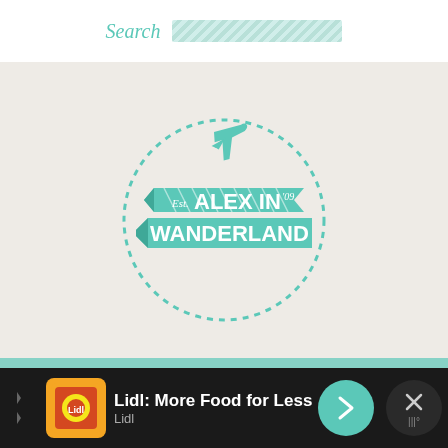Search
[Figure (logo): Alex in Wanderland travel blog logo: teal banner ribbon with airplane, dotted circle, text 'Est. ALEX IN '09 WANDERLAND']
[Figure (infographic): Three yellow horizontal lines forming a hamburger menu icon]
[Figure (screenshot): Advertisement banner: Lidl: More Food for Less Money - Lidl ad with orange icon, teal navigation arrow button, and X close button]